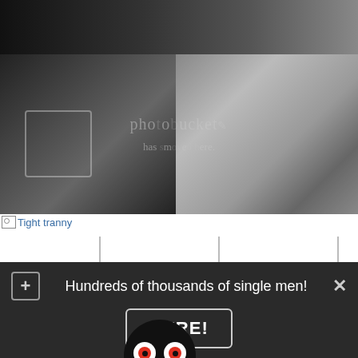[Figure (photo): Dark image at top, partial view of figures]
[Figure (photo): Black and white composite photo of two men's faces with Photobucket watermark overlay]
Tight tranny
[Figure (photo): Photo showing IANZ FIELD HEADQUARTERS banner with a black bird mascot costume and a man's face]
Hundreds of thousands of single men!
HERE!